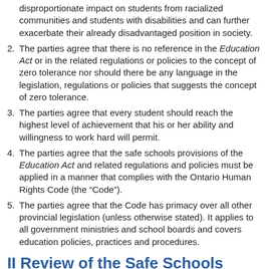disproportionate impact on students from racialized communities and students with disabilities and can further exacerbate their already disadvantaged position in society.
The parties agree that there is no reference in the Education Act or in the related regulations or policies to the concept of zero tolerance nor should there be any language in the legislation, regulations or policies that suggests the concept of zero tolerance.
The parties agree that every student should reach the highest level of achievement that his or her ability and willingness to work hard will permit.
The parties agree that the safe schools provisions of the Education Act and related regulations and policies must be applied in a manner that complies with the Ontario Human Rights Code (the “Code”).
The parties agree that the Code has primacy over all other provincial legislation (unless otherwise stated). It applies to all government ministries and school boards and covers education policies, practices and procedures.
II Review of the Safe Schools Provisions of the Education Act
The Ministry is committed to a comprehensive review of the safe schools provisions of the Education Act. As a first step, the